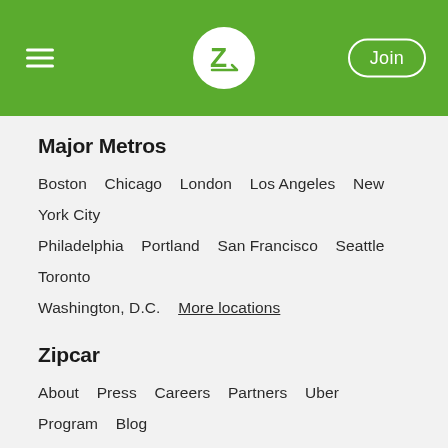Zipcar navigation header with hamburger menu, logo, and Join button
Major Metros
Boston   Chicago   London   Los Angeles   New York City   Philadelphia   Portland   San Francisco   Seattle   Toronto   Washington, D.C.   More locations
Zipcar
About   Press   Careers   Partners   Uber Program   Blog   Ad Affiliates
Got Questions?
Help Center